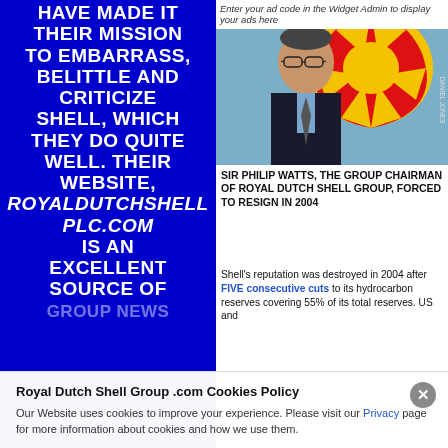[Figure (photo): Blue banner with white bold uppercase text reading: HAVE MADE IT THEIR MISSION TO EMBARRASS, BELITTLE AND CRITICIZE SHELL, WHICH THEY DO QUITE WELL. THEIR WEBSITE, RoyalDutchShell Plc.com IS AN EXCELLENT SOURCE OF [GROUP NEWS]]
Enter your ad code in the Widget Admin to display your ads here
[Figure (photo): Photo of Sir Philip Watts, an older man with glasses wearing a dark suit and tie, in front of a Royal Dutch Shell logo (red/yellow shell emblem). Photo credit: DANIEL JONES.]
SIR PHILIP WATTS, THE GROUP CHAIRMAN OF ROYAL DUTCH SHELL GROUP, FORCED TO RESIGN IN 2004
Shell's reputation was destroyed in 2004 after FIVE consecutive cuts to its hydrocarbon reserves covering 55% of its total reserves. US and
Royal Dutch Shell Group .com Cookies Policy
Our Website uses cookies to improve your experience. Please visit our Privacy page for more information about cookies and how we use them.